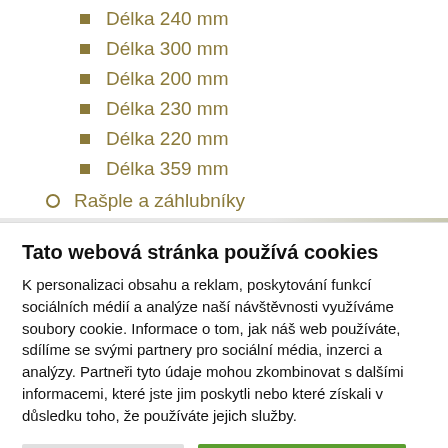Délka 240 mm
Délka 300 mm
Délka 200 mm
Délka 230 mm
Délka 220 mm
Délka 359 mm
Rašple a záhlubníky
Tato webová stránka používá cookies
K personalizaci obsahu a reklam, poskytování funkcí sociálních médií a analýze naší návštěvnosti využíváme soubory cookie. Informace o tom, jak náš web používáte, sdílíme se svými partnery pro sociální média, inzerci a analýzy. Partneři tyto údaje mohou zkombinovat s dalšími informacemi, které jste jim poskytli nebo které získali v důsledku toho, že používáte jejich služby.
Nastavení Cookie | Povolit všechny cookie